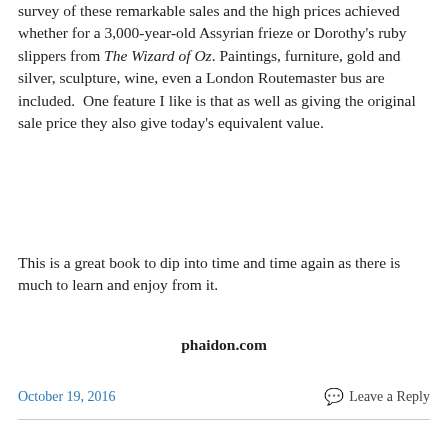survey of these remarkable sales and the high prices achieved whether for a 3,000-year-old Assyrian frieze or Dorothy's ruby slippers from The Wizard of Oz. Paintings, furniture, gold and silver, sculpture, wine, even a London Routemaster bus are included.  One feature I like is that as well as giving the original sale price they also give today's equivalent value.
This is a great book to dip into time and time again as there is much to learn and enjoy from it.
phaidon.com
October 19, 2016   Leave a Reply